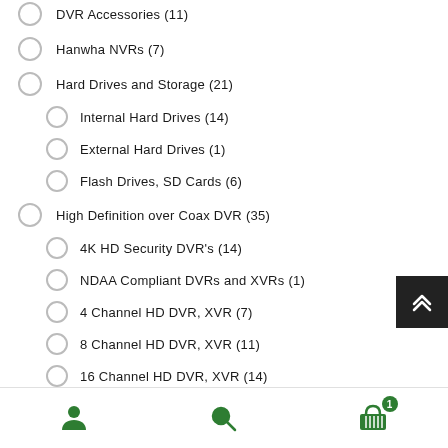DVR Accessories (11)
Hanwha NVRs (7)
Hard Drives and Storage (21)
Internal Hard Drives (14)
External Hard Drives (1)
Flash Drives, SD Cards (6)
High Definition over Coax DVR (35)
4K HD Security DVR's (14)
NDAA Compliant DVRs and XVRs (1)
4 Channel HD DVR, XVR (7)
8 Channel HD DVR, XVR (11)
16 Channel HD DVR, XVR (14)
32 Channel HD DVR (3)